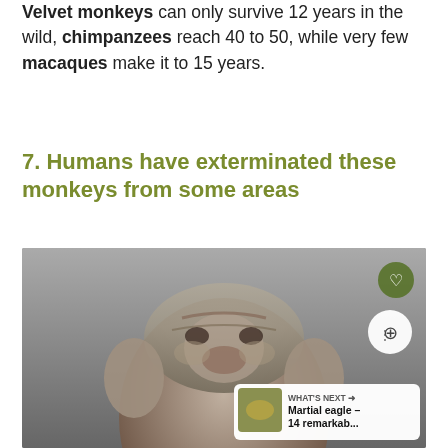Velvet monkeys can only survive 12 years in the wild, chimpanzees reach 40 to 50, while very few macaques make it to 15 years.
7. Humans have exterminated these monkeys from some areas
[Figure (photo): Close-up black and white photograph of a monkey face from below, showing the top of its head and face looking downward, with wrinkled skin and large folds around the face.]